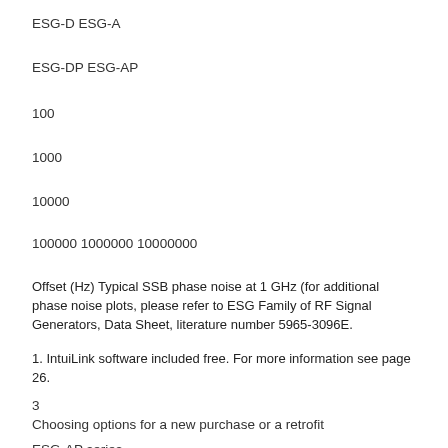ESG-D ESG-A
ESG-DP ESG-AP
100
1000
10000
100000 1000000 10000000
Offset (Hz) Typical SSB phase noise at 1 GHz (for additional phase noise plots, please refer to ESG Family of RF Signal Generators, Data Sheet, literature number 5965-3096E.
1. IntuiLink software included free. For more information see page 26.
3
Choosing options for a new purchase or a retrofit
ESG-AP series